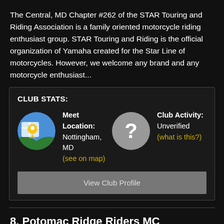The Central, MD Chapter #262 of the STAR Touring and Riding Association is a family oriented motorcycle riding enthusiast group. STAR Touring and Riding is the official organization of Yamaha created for the Star Line of motorcycles. However, we welcome any brand and any motorcycle enthusiast...
CLUB STATS:
[Figure (infographic): Club stats panel showing a map pin icon with Meet Location: Nottingham, MD (see on map) and a question mark icon with Club Activity: Unverified (what is this?), plus a View Club Profile button]
8. Potomac Ridge Riders MC